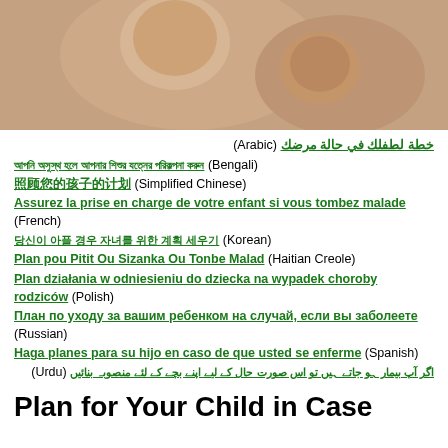[Figure (photo): Photo of a smiling adult face close to a smiling baby face, both facing each other]
خطة لطفلك في حالة مرضك (Arabic)
আপনি অসুস্থ হলে আপনার শিশুর যত্নের পরিকল্পনা করুন (Bengali)
照顾您的孩子的计划 (Simplified Chinese)
Assurez la prise en charge de votre enfant si vous tombez malade (French)
당신이 아플 경우 자녀를 위한 계획 세우기 (Korean)
Plan pou Pitit Ou Sizanka Ou Tonbe Malad (Haitian Creole)
Plan działania w odniesieniu do dziecka na wypadek choroby rodziców (Polish)
План по уходу за вашим ребенком на случай, если вы заболеете (Russian)
Haga planes para su hijo en caso de que usted se enferme (Spanish)
اگر آپ بیمار ہو جاتے ہیں تو اس صورت حال کے لیے اپنے بچے کے لئے منصوبہ بنائیں (Urdu)
Plan for Your Child in Case